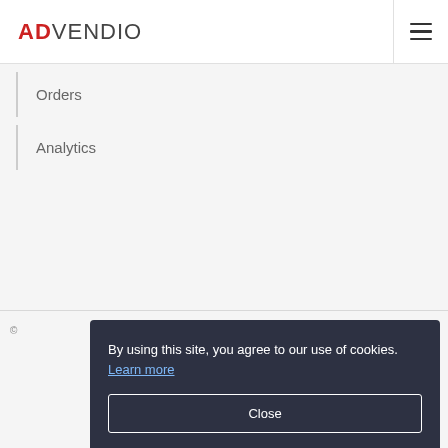ADVENDIO
Orders
Analytics
By using this site, you agree to our use of cookies. Learn more
Close